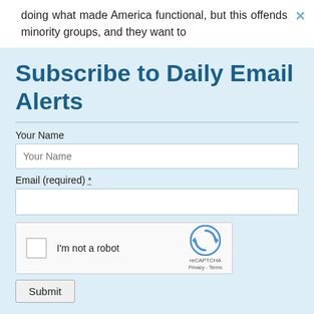doing what made America functional, but this offends minority groups, and they want to
Subscribe to Daily Email Alerts
Your Name
Email (required) *
[Figure (other): reCAPTCHA widget with checkbox labeled 'I'm not a robot' and reCAPTCHA branding with Privacy and Terms links]
Submit
By submitting this form, you are consenting to receive marketing emails from: News With Views, P.O. Box 990, Spring Branch, TX, 78070-9998,